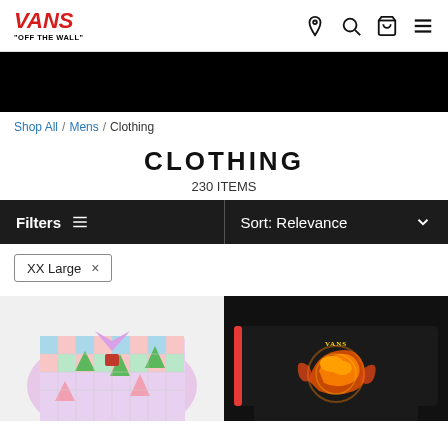VANS "OFF THE WALL" — navigation with location, search, cart, menu icons
[Figure (screenshot): Black banner/hero image area]
Shop All / Mens / Clothing
CLOTHING
230 ITEMS
Filters  Sort: Relevance
XX Large ×
[Figure (photo): Two product images: left - colorful checkered Hawaiian-style shirt with palm tree print; right - black long sleeve shirt with orange/yellow dragon graphic]